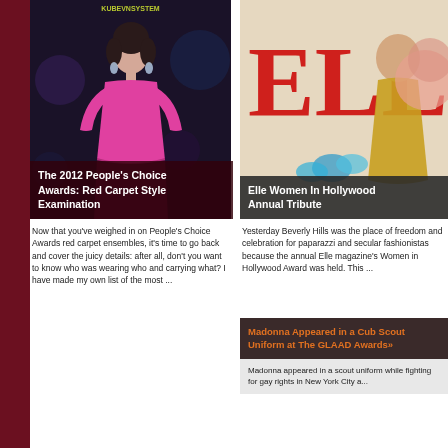[Figure (photo): Woman in pink dress at event, dark background, KUBEVNSYSTEM watermark]
The 2012 People's Choice Awards: Red Carpet Style Examination
Now that you've weighed in on People's Choice Awards red carpet ensembles, it's time to go back and cover the juicy details: after all, don't you want to know who was wearing who and carrying what? I have made my own list of the most ...
[Figure (photo): Elle magazine cover with model in ornate dress and large flower]
Elle Women In Hollywood Annual Tribute
Yesterday Beverly Hills was the place of freedom and celebration for paparazzi and secular fashionistas because the annual Elle magazine's Women in Hollywood Award was held. This ...
Madonna Appeared in a Cub Scout Uniform at The GLAAD Awards»
Madonna appeared in a scout uniform while fighting for gay rights in New York City a...